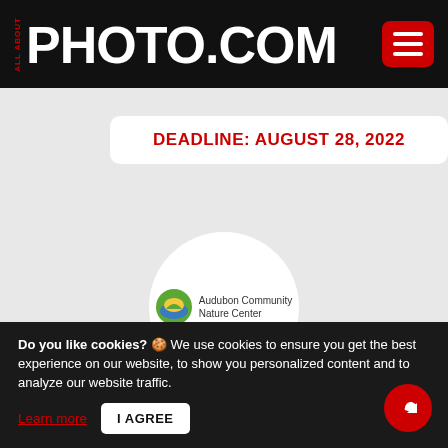ALL ABOUT PHOTO.COM
DEADLINE: AUGUST 28, 2022
[Figure (logo): Audubon Community Nature Center logo inside white circle]
2022 Nature Photography Contest
Submissions are now being accepted for the 2022 Audubon Community Nature Center Nature
Do you like cookies? 🍪 We use cookies to ensure you get the best experience on our website, to show you personalized content and to analyze our website traffic. Learn more  I AGREE